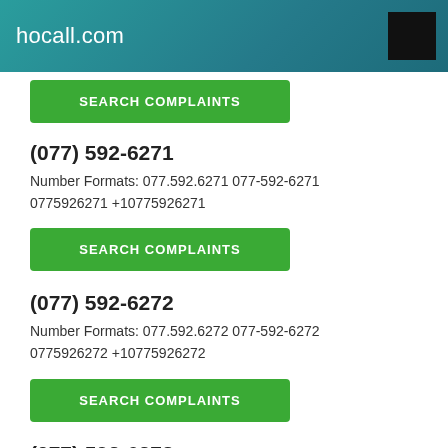hocall.com
(077) 592-6271
Number Formats: 077.592.6271 077-592-6271 0775926271 +10775926271
SEARCH COMPLAINTS
(077) 592-6272
Number Formats: 077.592.6272 077-592-6272 0775926272 +10775926272
SEARCH COMPLAINTS
(077) 592-6273
Number Formats: 077.592.6273 077-592-6273 0775926273 +10775926273
SEARCH COMPLAINTS